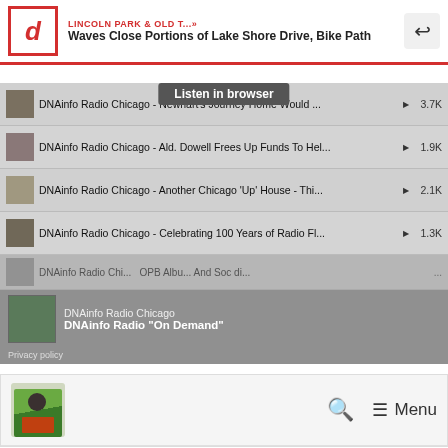LINCOLN PARK & OLD T...» Waves Close Portions of Lake Shore Drive, Bike Path
[Figure (screenshot): Podcast player widget showing DNAinfo Radio Chicago playlist with multiple episodes and play counts]
DNAinfo Radio Chicago
DNAinfo Radio "On Demand"
Privacy policy
[Figure (screenshot): Website navigation bar with logo, search icon, and Menu button]
Oops! That page can't be found.